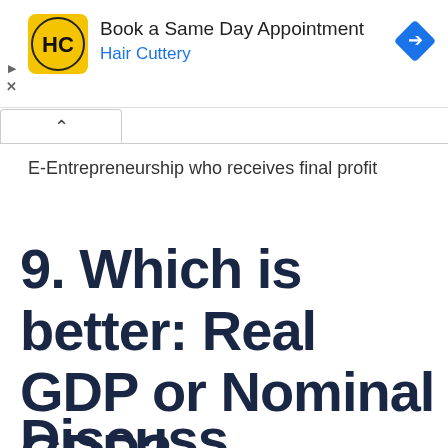[Figure (other): Hair Cuttery advertisement banner with logo showing 'HC' initials, text 'Book a Same Day Appointment' and 'Hair Cuttery' in blue, with a blue diamond navigation arrow icon on the right, and play/close icons on the left edge]
E-Entrepreneurship who receives final profit
9. Which is better: Real GDP or Nominal GDP?
Discuss